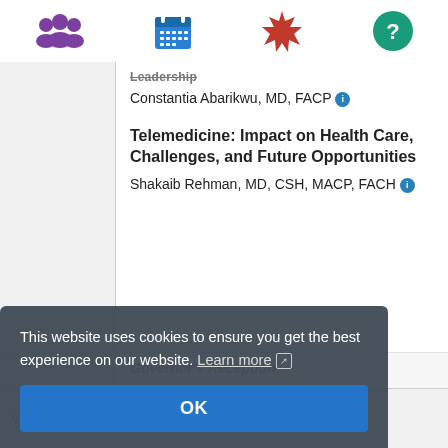[Figure (screenshot): Navigation bar with four icons: purple group/people icon, blue calendar/grid icon, red starburst/settings icon, teal circle with question mark icon]
Leadership
Constantia Abarikwu, MD, FACP
Telemedicine: Impact on Health Care, Challenges, and Future Opportunities
Shakaib Rehman, MD, CSH, MACP, FACH
Governor's Reception
Day Two 10/23
This website uses cookies to ensure you get the best experience on our website. Learn more
OK